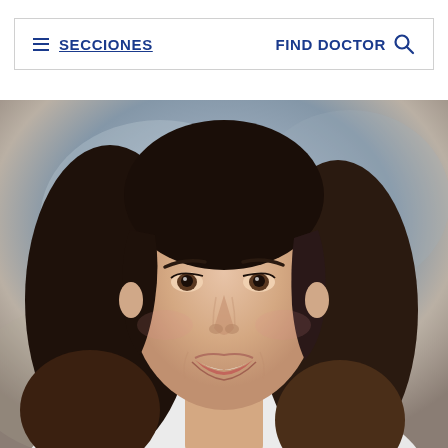≡ SECCIONES   FIND DOCTOR 🔍
[Figure (photo): Professional headshot of a smiling woman with dark brown shoulder-length hair, wearing a light-colored top, against a muted blue-gray studio background]